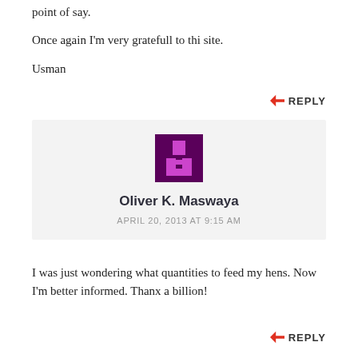point of say.
Once again I'm very gratefull to thi site.
Usman
REPLY
[Figure (illustration): Pixel art avatar icon with purple/magenta colors on dark purple background]
Oliver K. Maswaya
APRIL 20, 2013 AT 9:15 AM
I was just wondering what quantities to feed my hens. Now I'm better informed. Thanx a billion!
REPLY